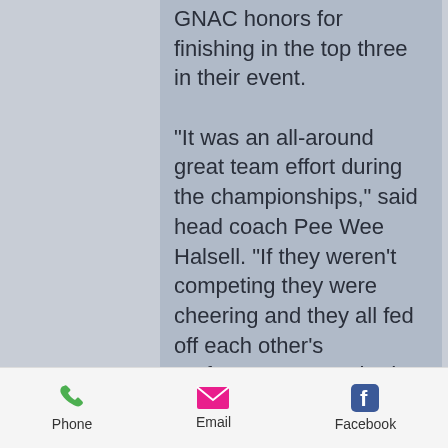GNAC honors for finishing in the top three in their event.

"It was an all-around great team effort during the championships," said head coach Pee Wee Halsell. "If they weren't competing they were cheering and they all fed off each other's performances. We had a number of student-athletes step up with great performances to score in all 17 events and I couldn't be prouder of how they competed this week."

In addition to the great performance by the men's squad, the women's squad also had a great week in Idaho placing 4th in a competitive team competition. Five
Phone  Email  Facebook